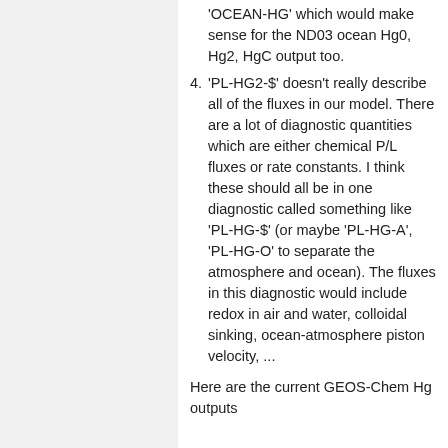'OCEAN-HG' which would make sense for the ND03 ocean Hg0, Hg2, HgC output too.
4. 'PL-HG2-$' doesn't really describe all of the fluxes in our model. There are a lot of diagnostic quantities which are either chemical P/L fluxes or rate constants. I think these should all be in one diagnostic called something like 'PL-HG-$' (or maybe 'PL-HG-A', 'PL-HG-O' to separate the atmosphere and ocean). The fluxes in this diagnostic would include redox in air and water, colloidal sinking, ocean-atmosphere piston velocity, ...
Here are the current GEOS-Chem Hg outputs